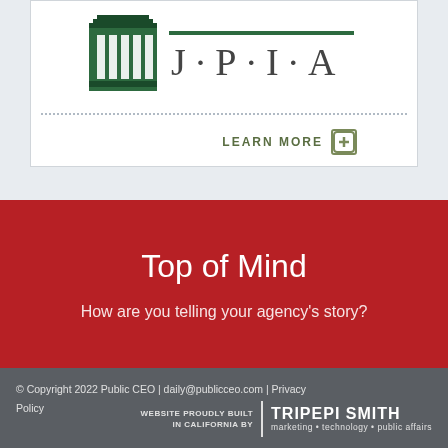[Figure (logo): JPIA logo with green building icon and J·P·I·A lettering, with LEARN MORE button below on dotted border]
Top of Mind
How are you telling your agency's story?
© Copyright 2022 Public CEO | daily@publicceo.com | Privacy Policy  WEBSITE PROUDLY BUILT IN CALIFORNIA BY TRIPEPI SMITH marketing • technology • public affairs